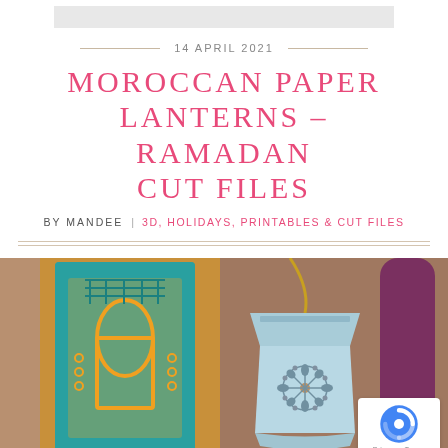14 APRIL 2021
MOROCCAN PAPER LANTERNS – RAMADAN CUT FILES
BY MANDEE  |  3D, HOLIDAYS, PRINTABLES & CUT FILES
[Figure (photo): Two Moroccan paper lanterns: one teal and gold decorative lantern on the left, and a light blue Moroccan-style paper lantern hanging from a gold cord in the center. Purple bottle visible in background.]